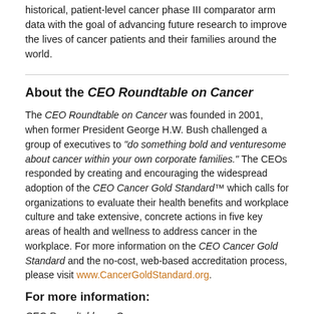historical, patient-level cancer phase III comparator arm data with the goal of advancing future research to improve the lives of cancer patients and their families around the world.
About the CEO Roundtable on Cancer
The CEO Roundtable on Cancer was founded in 2001, when former President George H.W. Bush challenged a group of executives to "do something bold and venturesome about cancer within your own corporate families." The CEOs responded by creating and encouraging the widespread adoption of the CEO Cancer Gold Standard™ which calls for organizations to evaluate their health benefits and workplace culture and take extensive, concrete actions in five key areas of health and wellness to address cancer in the workplace. For more information on the CEO Cancer Gold Standard and the no-cost, web-based accreditation process, please visit www.CancerGoldStandard.org.
For more information:
CEO Roundtable on Cancer
Manager, Biomarker Communications Director